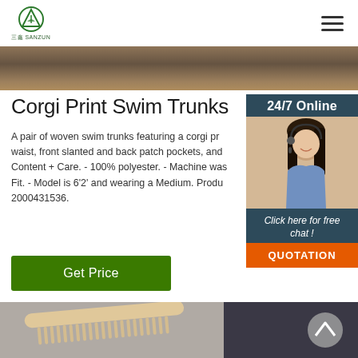三鑫 SANZUN logo and hamburger menu
[Figure (photo): Dark brown/golden hero banner image strip at top of page]
Corgi Print Swim Trunks
A pair of woven swim trunks featuring a corgi print, elastic waist, front slanted and back patch pockets, and... Content + Care. - 100% polyester. - Machine was... Fit. - Model is 6'2' and wearing a Medium. Produ... 2000431536.
[Figure (photo): 24/7 Online customer service widget showing a woman with headset, with Click here for free chat! text and QUOTATION button]
[Figure (photo): Bottom image showing a wooden comb on gray fabric and dark background, with scroll-up circle button]